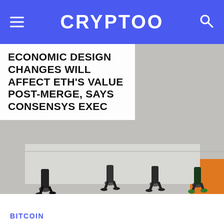CRYPTOO
ECONOMIC DESIGN CHANGES WILL AFFECT ETH'S VALUE POST-MERGE, SAYS CONSENSYS EXEC
[Figure (illustration): Illustrated scene showing people walking on a street, viewed from above; includes orange and grey tones with figures in business attire.]
BITCOIN